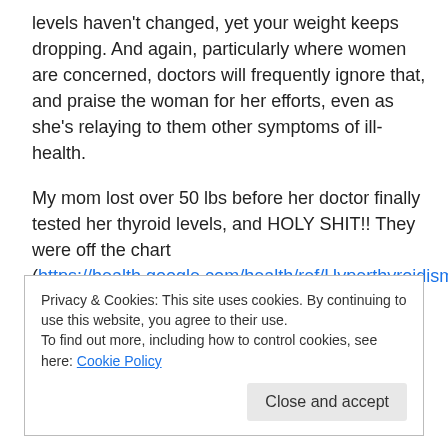levels haven't changed, yet your weight keeps dropping. And again, particularly where women are concerned, doctors will frequently ignore that, and praise the woman for her efforts, even as she's relaying to them other symptoms of ill-health.
My mom lost over 50 lbs before her doctor finally tested her thyroid levels, and HOLY SHIT!! They were off the chart (https://health.google.com/health/ref/Hyperthyroidism). She had to have her thyroid killed with radiation, because
Privacy & Cookies: This site uses cookies. By continuing to use this website, you agree to their use. To find out more, including how to control cookies, see here: Cookie Policy